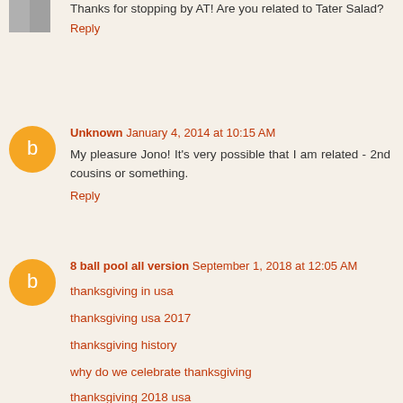Thanks for stopping by AT! Are you related to Tater Salad?
Reply
Unknown  January 4, 2014 at 10:15 AM
My pleasure Jono! It's very possible that I am related - 2nd cousins or something.
Reply
8 ball pool all version  September 1, 2018 at 12:05 AM
thanksgiving in usa
thanksgiving usa 2017
thanksgiving history
why do we celebrate thanksgiving
thanksgiving 2018 usa